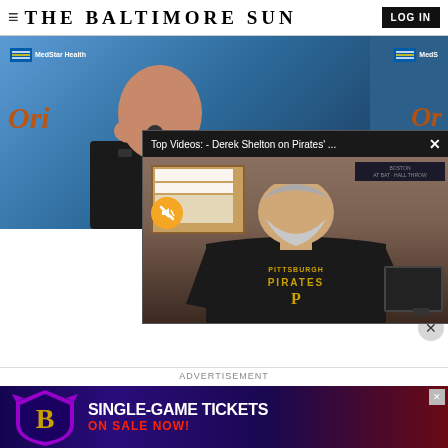THE BALTIMORE SUN
[Figure (screenshot): Baltimore Orioles press conference: man in black Nike shirt at podium with Orioles logo and MedStar Health branding in background]
[Figure (screenshot): Popup video overlay: Derek Shelton on Pirates, showing man in Pittsburgh Pirates hoodie seated at desk with monitor visible. Header reads 'Top Videos: - Derek Shelton on Pirates' ...' with close X button. Mute button visible.]
ADVERTISEMENT
[Figure (screenshot): Baltimore Ravens advertisement banner: SINGLE-GAME TICKETS ON SALE NOW! with Ravens logo on purple/black background]